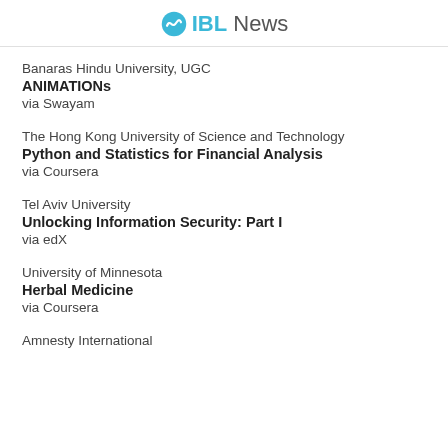IBL News
Banaras Hindu University, UGC
ANIMATIONs
via Swayam
The Hong Kong University of Science and Technology
Python and Statistics for Financial Analysis
via Coursera
Tel Aviv University
Unlocking Information Security: Part I
via edX
University of Minnesota
Herbal Medicine
via Coursera
Amnesty International